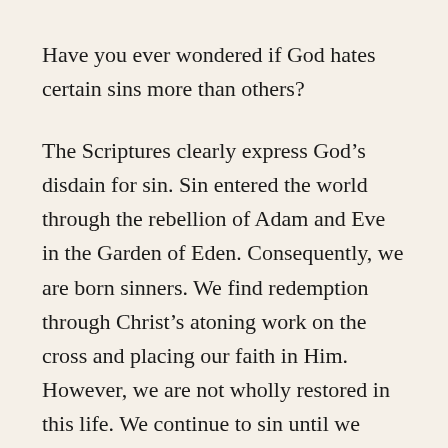Have you ever wondered if God hates certain sins more than others?
The Scriptures clearly express God’s disdain for sin. Sin entered the world through the rebellion of Adam and Eve in the Garden of Eden. Consequently, we are born sinners. We find redemption through Christ’s atoning work on the cross and placing our faith in Him. However, we are not wholly restored in this life. We continue to sin until we leave this earth.
Proverbs 6:16-19 lists seven things the Lord